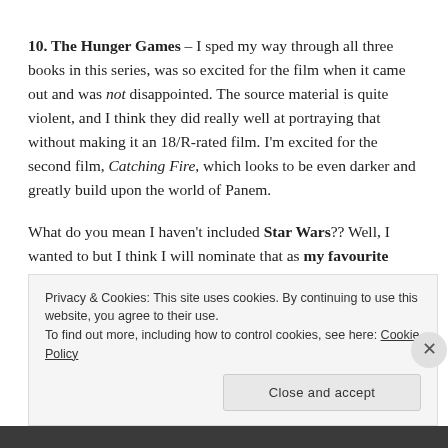10. The Hunger Games – I sped my way through all three books in this series, was so excited for the film when it came out and was not disappointed. The source material is quite violent, and I think they did really well at portraying that without making it an 18/R-rated film. I'm excited for the second film, Catching Fire, which looks to be even darker and greatly build upon the world of Panem.
What do you mean I haven't included Star Wars?? Well, I wanted to but I think I will nominate that as my favourite science fiction film series. I love them all, minus Attack of the Clones which was just boring. Yes, even The Phantom
Privacy & Cookies: This site uses cookies. By continuing to use this website, you agree to their use. To find out more, including how to control cookies, see here: Cookie Policy
Close and accept